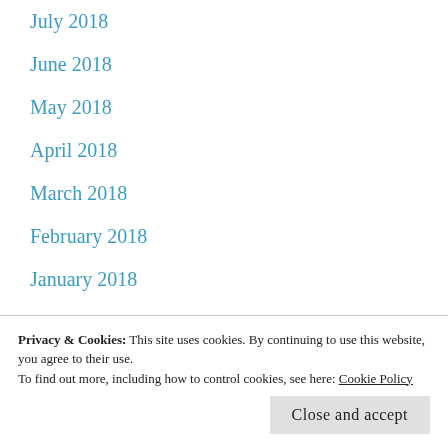July 2018
June 2018
May 2018
April 2018
March 2018
February 2018
January 2018
December 2017
November 2017
October 2017
Privacy & Cookies: This site uses cookies. By continuing to use this website, you agree to their use.
To find out more, including how to control cookies, see here: Cookie Policy
June 2017